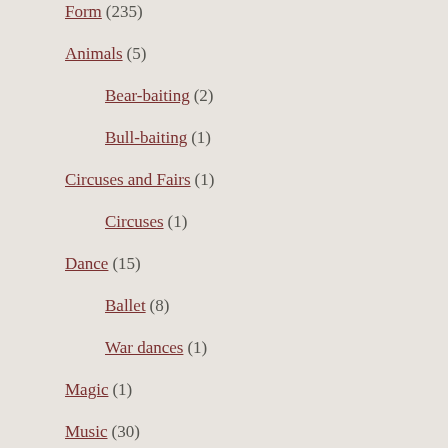Form (235)
Animals (5)
Bear-baiting (2)
Bull-baiting (1)
Circuses and Fairs (1)
Circuses (1)
Dance (15)
Ballet (8)
War dances (1)
Magic (1)
Music (30)
Comic opera (5)
Intermedio (1)
Musicals (1)